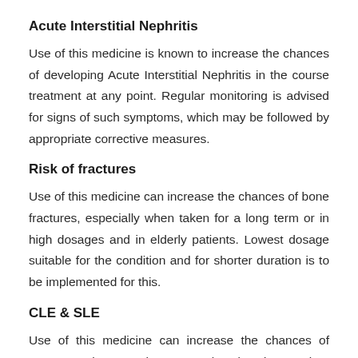Acute Interstitial Nephritis
Use of this medicine is known to increase the chances of developing Acute Interstitial Nephritis in the course treatment at any point. Regular monitoring is advised for signs of such symptoms, which may be followed by appropriate corrective measures.
Risk of fractures
Use of this medicine can increase the chances of bone fractures, especially when taken for a long term or in high dosages and in elderly patients. Lowest dosage suitable for the condition and for shorter duration is to be implemented for this.
CLE & SLE
Use of this medicine can increase the chances of Cutaneous lupus erythematosus (CLE) and systemic